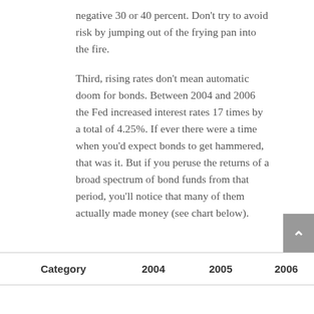negative 30 or 40 percent. Don't try to avoid risk by jumping out of the frying pan into the fire.
Third, rising rates don't mean automatic doom for bonds. Between 2004 and 2006 the Fed increased interest rates 17 times by a total of 4.25%. If ever there were a time when you'd expect bonds to get hammered, that was it. But if you peruse the returns of a broad spectrum of bond funds from that period, you'll notice that many of them actually made money (see chart below).
| Category | 2004 | 2005 | 2006 |
| --- | --- | --- | --- |